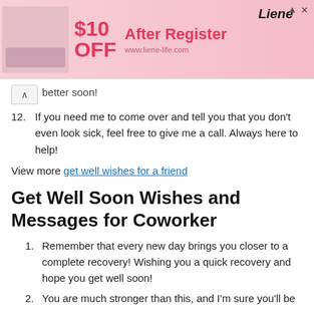[Figure (screenshot): Advertisement banner for Liene product showing $10 OFF After Register promotion with pink background and product image]
better soon!
12. If you need me to come over and tell you that you don't even look sick, feel free to give me a call. Always here to help!
View more get well wishes for a friend
Get Well Soon Wishes and Messages for Coworker
1. Remember that every new day brings you closer to a complete recovery! Wishing you a quick recovery and hope you get well soon!
2. You are much stronger than this, and I'm sure you'll be